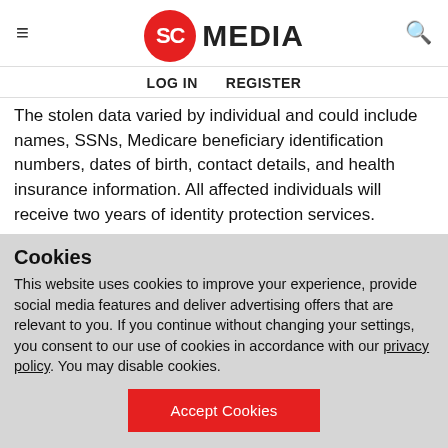SC MEDIA
LOG IN   REGISTER
The stolen data varied by individual and could include names, SSNs, Medicare beneficiary identification numbers, dates of birth, contact details, and health insurance information. All affected individuals will receive two years of identity protection services.
Upon discovery, Choice Health worked with the vendor behind the error to properly reconfigure the security settings
Cookies
This website uses cookies to improve your experience, provide social media features and deliver advertising offers that are relevant to you. If you continue without changing your settings, you consent to our use of cookies in accordance with our privacy policy. You may disable cookies.
Accept Cookies